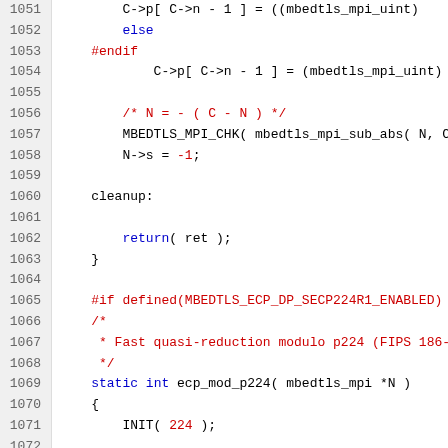[Figure (screenshot): Source code listing showing C code for MPI/ECP modular arithmetic functions in mbedTLS, lines 1051-1072, with syntax highlighting: line numbers in grey, keywords in blue, preprocessor directives and comments in red, and normal code in black on white background.]